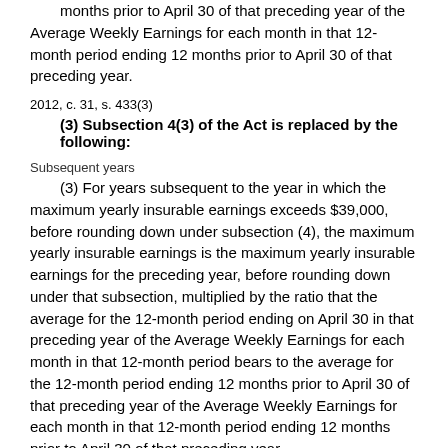months prior to April 30 of that preceding year of the Average Weekly Earnings for each month in that 12-month period ending 12 months prior to April 30 of that preceding year.
2012, c. 31, s. 433(3)
(3) Subsection 4(3) of the Act is replaced by the following:
Subsequent years
(3) For years subsequent to the year in which the maximum yearly insurable earnings exceeds $39,000, before rounding down under subsection (4), the maximum yearly insurable earnings is the maximum yearly insurable earnings for the preceding year, before rounding down under that subsection, multiplied by the ratio that the average for the 12-month period ending on April 30 in that preceding year of the Average Weekly Earnings for each month in that 12-month period bears to the average for the 12-month period ending 12 months prior to April 30 of that preceding year of the Average Weekly Earnings for each month in that 12-month period ending 12 months prior to April 30 of that preceding year.